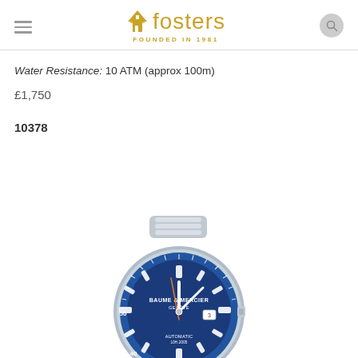Fosters - Founded in 1981
Water Resistance: 10 ATM (approx 100m)
£1,750
10378
[Figure (photo): Baume & Mercier Clifton Club watch with blue dial, blue bezel, stainless steel bracelet, orange crown and accents, automatic movement, date complication. Reference 10378.]